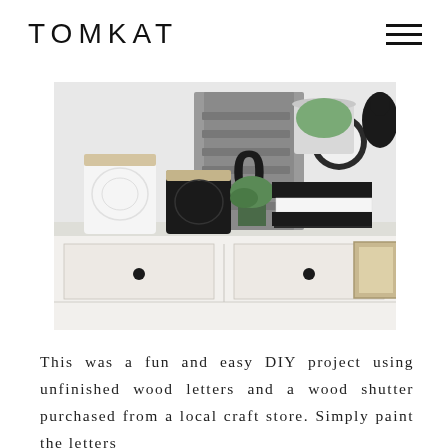TOMKAT
[Figure (photo): A home decor vignette on a white console table featuring two textured candles (one white, one black) with wooden lids, a grey wood shutter with a black letter O, stacked books, a small potted plant, a clock, and a dark decorative bird figure.]
This was a fun and easy DIY project using unfinished wood letters and a wood shutter purchased from a local craft store. Simply paint the letters